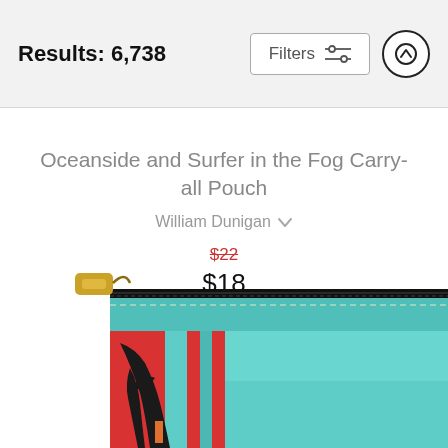Results: 6,738
[Figure (screenshot): Filters button with sliders icon and up-arrow circle button in header bar]
Oceanside and Surfer in the Fog Carry-all Pouch
William Dunigan
$22 (strikethrough) $18
[Figure (photo): Carry-all pouch product photo showing red and teal surfer-themed design with gold zipper pull, partially cropped at bottom of page]